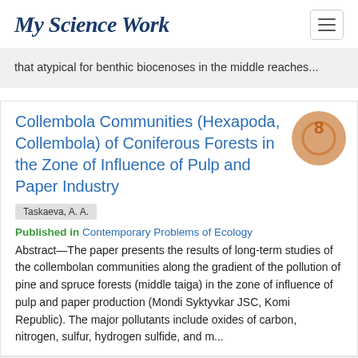MyScienceWork
that atypical for benthic biocenoses in the middle reaches...
Collembola Communities (Hexapoda, Collembola) of Coniferous Forests in the Zone of Influence of Pulp and Paper Industry
Taskaeva, A. A.
Published in Contemporary Problems of Ecology
Abstract—The paper presents the results of long-term studies of the collembolan communities along the gradient of the pollution of pine and spruce forests (middle taiga) in the zone of influence of pulp and paper production (Mondi Syktyvkar JSC, Komi Republic). The major pollutants include oxides of carbon, nitrogen, sulfur, hydrogen sulfide, and m...